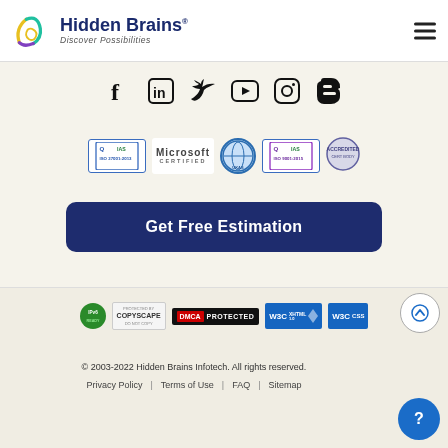[Figure (logo): Hidden Brains logo with colorful swirl icon and company name 'Hidden Brains' with tagline 'Discover Possibilities']
[Figure (other): Social media icons row: Facebook, LinkedIn, Twitter, YouTube, Instagram, Blogger]
[Figure (other): Certification badges: ISO 27001:2013, Microsoft Certified, UKAS globe badge, ISO 9001:2015, another accreditation badge]
Get Free Estimation
[Figure (other): Trust badges row: IPv6 badge, Copyscape Protected, DMCA Protected, W3C XHTML 1.0, W3C CSS]
© 2003-2022 Hidden Brains Infotech. All rights reserved.
Privacy Policy | Terms of Use | FAQ | Sitemap